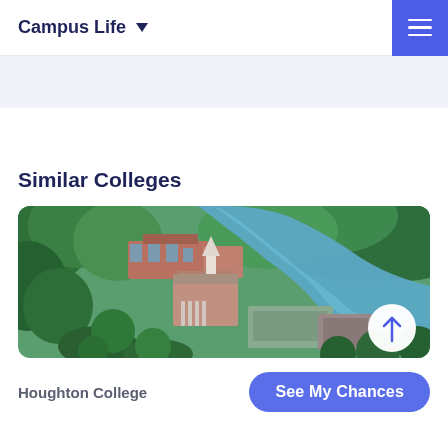Campus Life ▼
Similar Colleges
[Figure (photo): Aerial photograph of Houghton College campus showing brick buildings, a white church steeple, surrounded by dense green trees and a winding blue river.]
Houghton College
See My Chances